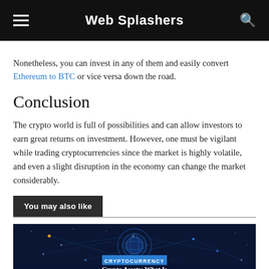Web Splashers
Nonetheless, you can invest in any of them and easily convert Ethereum to BTC or vice versa down the road.
Conclusion
The crypto world is full of possibilities and can allow investors to earn great returns on investment. However, one must be vigilant while trading cryptocurrencies since the market is highly volatile, and even a slight disruption in the economy can change the market considerably.
You may also like
[Figure (photo): Cryptocurrency network visualization with dark blue background, showing a glowing globe with network connections and digital particles. A blue 'CRYPTOCURRENCY' badge is overlaid, with partially visible title text 'Crypto Assets: What Is' at the bottom.]